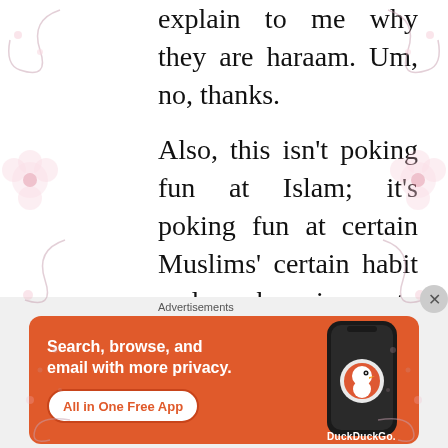explain to me why they are haraam. Um, no, thanks.
Also, this isn't poking fun at Islam; it's poking fun at certain Muslims' certain habit and obsession to declare everything haraam, especially the things we love most. I do not apologize for offending anyone with this.
[Figure (other): DuckDuckGo advertisement banner with orange background. Text reads: Search, browse, and email with more privacy. All in One Free App. Shows a phone with DuckDuckGo logo.]